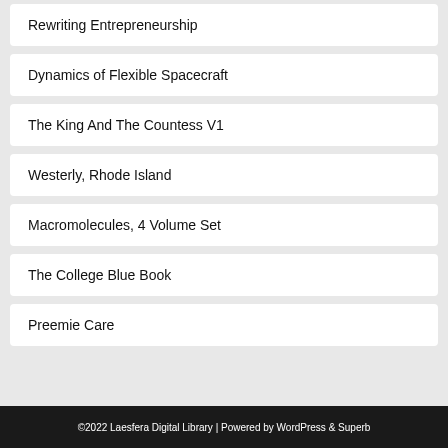Rewriting Entrepreneurship
Dynamics of Flexible Spacecraft
The King And The Countess V1
Westerly, Rhode Island
Macromolecules, 4 Volume Set
The College Blue Book
Preemie Care
©2022 Laesfera Digital Library | Powered by WordPress & Superb